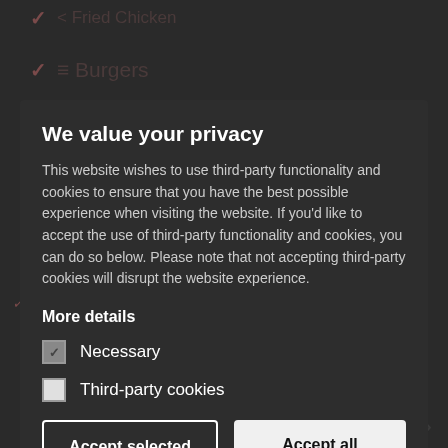[Figure (screenshot): Background of a dark-themed food ordering app showing menu items with checkmarks (e.g., Chicken, Burgers, Spicy Chicken Portions) partially visible behind a cookie consent modal overlay.]
We value your privacy
This website wishes to use third-party functionality and cookies to ensure that you have the best possible experience when visiting the website. If you'd like to accept the use of third-party functionality and cookies, you can do so below. Please note that not accepting third-party cookies will disrupt the website experience.
More details
Necessary (checked)
Third-party cookies (unchecked)
Accept selected
Accept all